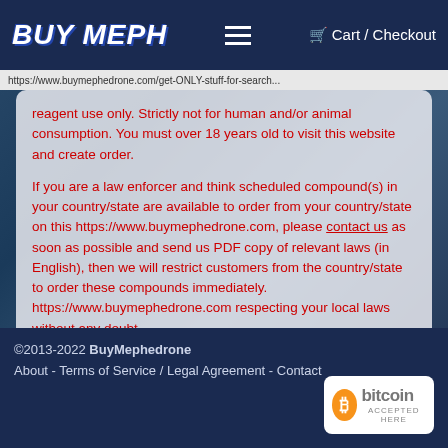BUY MEPH  ≡  Cart / Checkout
https://www.buymephedrone.com/get-ONLY-stuff-for-search...
reagent use only. Strictly not for human and/or animal consumption. You must over 18 years old to visit this website and create order.

If you are a law enforcer and think scheduled compound(s) in your country/state are available to order from your country/state on this https://www.buymephedrone.com, please contact us as soon as possible and send us PDF copy of relevant laws (in English), then we will restrict customers from the country/state to order these compounds immediately. https://www.buymephedrone.com respecting your local laws without any doubt.
©2013-2022 BuyMephedrone
About - Terms of Service / Legal Agreement - Contact
[Figure (logo): Bitcoin accepted here badge with orange Bitcoin symbol]